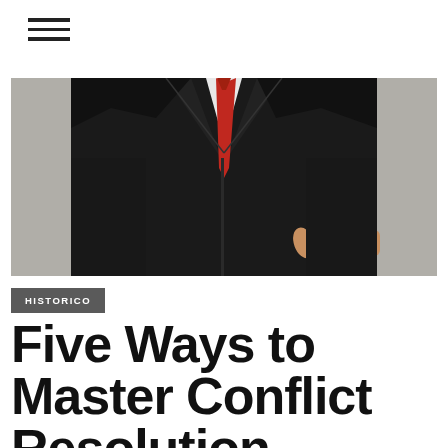[Figure (other): Hamburger menu icon — three horizontal black lines stacked vertically in top-left corner]
[Figure (photo): A man in a black suit and red tie holding a red heart shape in his hand against a grey background. Only the torso and hands are visible.]
HISTORICO
Five Ways to Master Conflict Resolution